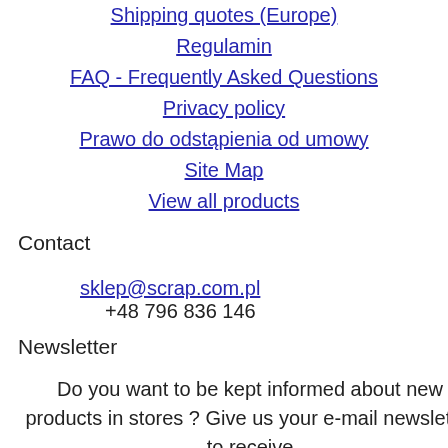Shipping quotes (Europe)
Regulamin
FAQ - Frequently Asked Questions
Privacy policy
Prawo do odstąpienia od umowy
Site Map
View all products
Contact
sklep@scrap.com.pl
+48 796 836 146
Newsletter
Do you want to be kept informed about new products in stores ? Give us your e-mail newsletter to receive